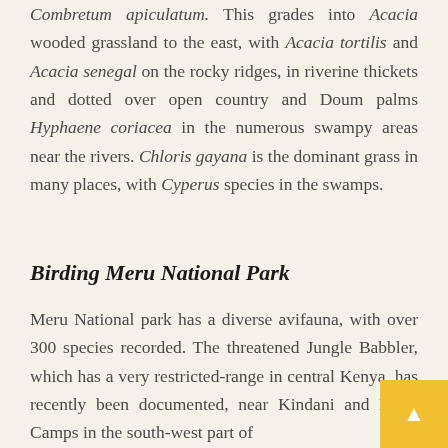Combretum apiculatum. This grades into Acacia wooded grassland to the east, with Acacia tortilis and Acacia senegal on the rocky ridges, in riverine thickets and dotted over open country and Doum palms Hyphaene coriacea in the numerous swampy areas near the rivers. Chloris gayana is the dominant grass in many places, with Cyperus species in the swamps.
Birding Meru National Park
Meru National park has a diverse avifauna, with over 300 species recorded. The threatened Jungle Babbler, which has a very restricted-range in central Kenya, has recently been documented, near Kindani and Nyati Camps in the south-west part of